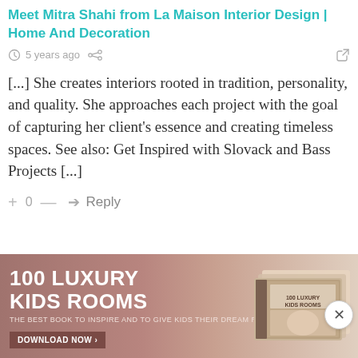Meet Mitra Shahi from La Maison Interior Design | Home And Decoration
5 years ago
[...] She creates interiors rooted in tradition, personality, and quality. She approaches each project with the goal of capturing her client's essence and creating timeless spaces. See also: Get Inspired with Slovack and Bass Projects [...]
+ 0 — Reply
[Figure (infographic): Advertisement banner for '100 Luxury Kids Rooms' book with reddish-brown background and book image on the right. Includes title '100 LUXURY KIDS ROOMS', subtitle 'THE BEST BOOK TO INSPIRE AND TO GIVE KIDS THEIR DREAM ROOM', and a 'DOWNLOAD NOW >' button.]